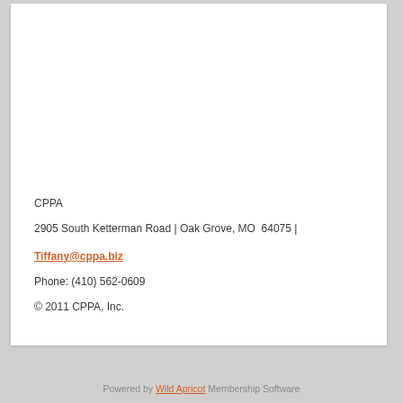CPPA
2905 South Ketterman Road | Oak Grove, MO  64075 |
Tiffany@cppa.biz
Phone: (410) 562-0609
© 2011 CPPA, Inc.
Powered by Wild Apricot Membership Software